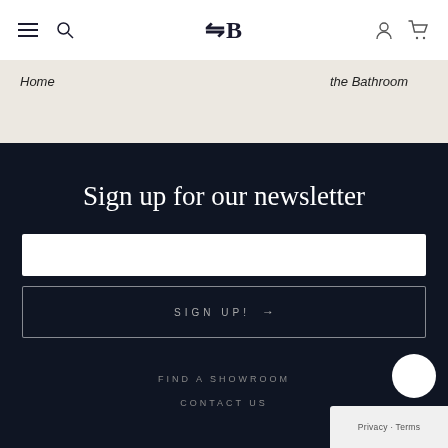FB logo with hamburger menu, search icon, user icon, cart icon
Home
the Bathroom
Sign up for our newsletter
SIGN UP! →
FIND A SHOWROOM
CONTACT US
Privacy · Terms